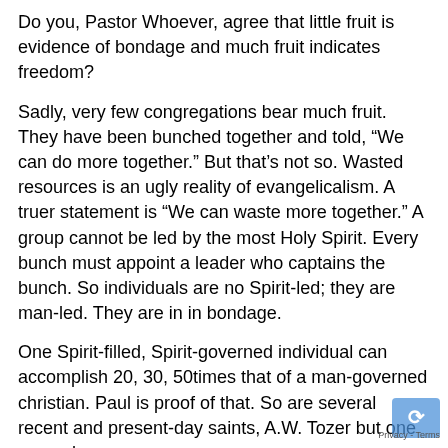Do you, Pastor Whoever, agree that little fruit is evidence of bondage and much fruit indicates freedom?
Sadly, very few congregations bear much fruit. They have been bunched together and told, “We can do more together.” But that’s not so. Wasted resources is an ugly reality of evangelicalism. A truer statement is “We can waste more together.” A group cannot be led by the most Holy Spirit. Every bunch must appoint a leader who captains the bunch. So individuals are no Spirit-led; they are man-led. They are in in bondage.
One Spirit-filled, Spirit-governed individual can accomplish 20, 30, 50times that of a man-governed christian. Paul is proof of that. So are several recent and present-day saints, A.W. Tozer but one example.
Only truth sets the captives free. To escape the bondage of evangelicalism they need to be told the truth. But that’s not likely to happen. You, Pastor Whoever, are their chief spokesman, and it is you that has conscripted them into